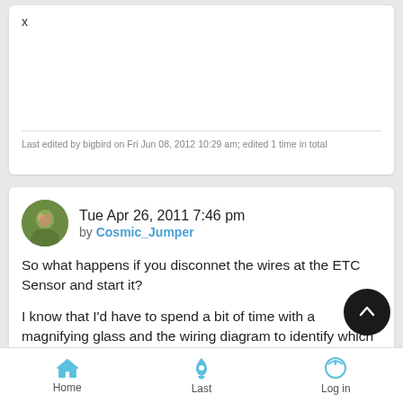x
Last edited by bigbird on Fri Jun 08, 2012 10:29 am; edited 1 time in total
Tue Apr 26, 2011 7:46 pm
by Cosmic_Jumper
So what happens if you disconnet the wires at the ETC Sensor and start it?
I know that I'd have to spend a bit of time with a magnifying glass and the wiring diagram to identify which wires were 'shorted' and which components those wires are connected
PS: There a few ECU's available here, of late, on eBay in the
Home    Last    Log in